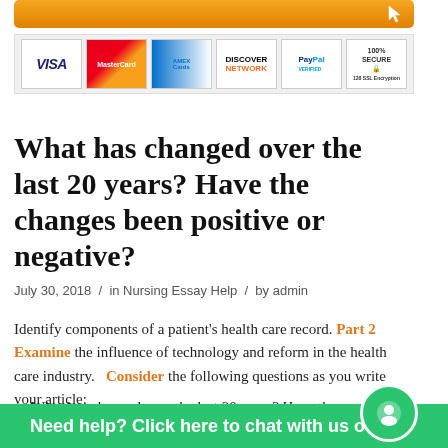[Figure (other): Orange button bar at top with cursor icon]
[Figure (other): Payment logos strip showing Visa, MasterCard, American Express, Discover, PayPal, 100% Secure 128 SSL Encryption]
What has changed over the last 20 years? Have the changes been positive or negative?
July 30, 2018 / in Nursing Essay Help / by admin
Identify components of a patient's health care record. Part 2 Examine the influence of technology and reform in the health care industry.   Consider the following questions as you write your article:
What has changed over the last 20 years? Have the
How has the patient been affected by the changes?